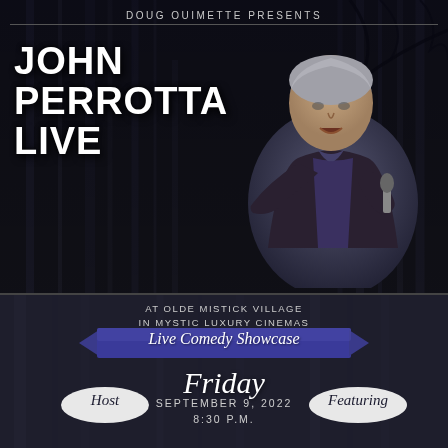DOUG OUIMETTE PRESENTS
JOHN PERROTTA LIVE
[Figure (photo): Man in dark shirt holding a microphone, performing stand-up comedy, dark background]
AT OLDE MISTICK VILLAGE IN MYSTIC LUXURY CINEMAS
Live Comedy Showcase
Friday
September 9, 2022
8:30 p.m.
Host
Featuring